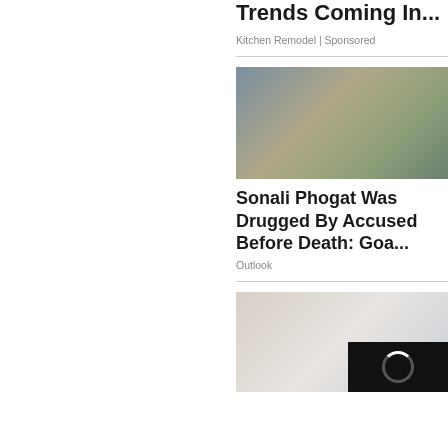Trends Coming In...
Kitchen Remodel | Sponsored
[Figure (photo): Photo of Sonali Phogat with police officer and another person in background]
Sonali Phogat Was Drugged By Accused Before Death: Goa...
Outlook
[Figure (screenshot): Partially visible image with close (X) button and video loader spinner overlay on black background]